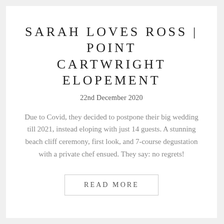SARAH LOVES ROSS | POINT CARTWRIGHT ELOPEMENT
22nd December 2020
Due to Covid, they decided to postpone their big wedding till 2021, instead eloping with just 14 guests. A stunning beach cliff ceremony, first look, and 7-course degustation with a private chef ensued. They say: no regrets!
READ MORE